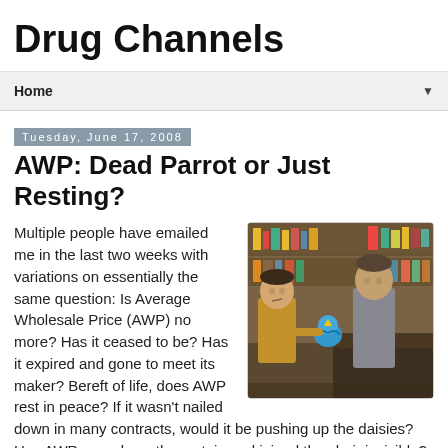Drug Channels
Home
Tuesday, June 17, 2008
AWP: Dead Parrot or Just Resting?
[Figure (photo): Two men in a shop scene, one holding a blue parrot, referencing the Monty Python Dead Parrot sketch]
Multiple people have emailed me in the last two weeks with variations on essentially the same question: Is Average Wholesale Price (AWP) no more? Has it ceased to be? Has it expired and gone to meet its maker? Bereft of life, does AWP rest in peace? If it wasn't nailed down in many contracts, would it be pushing up the daisies? Has AWP rung down the curtain and joined the choir invisible?